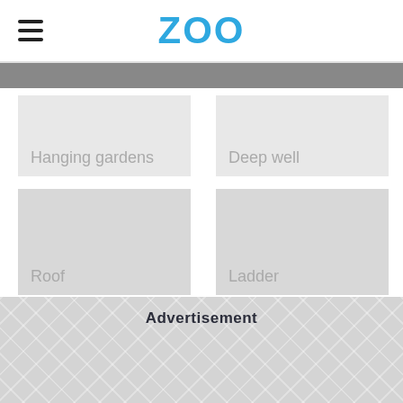ZOO
Hanging gardens
Deep well
Roof
Ladder
Advertisement